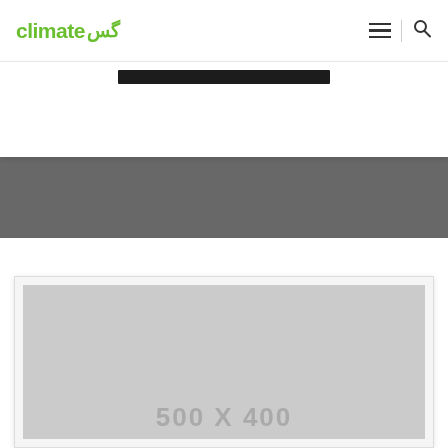climate گس — navigation header with hamburger menu and search icon
[Figure (screenshot): Website screenshot showing climate گس logo header, dark navigation bar, gray banner section, and placeholder image area with '500 X 400' text]